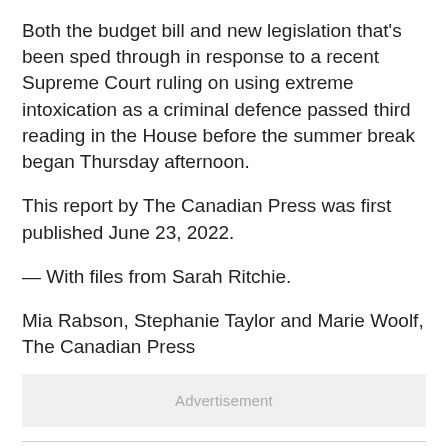Both the budget bill and new legislation that's been sped through in response to a recent Supreme Court ruling on using extreme intoxication as a criminal defence passed third reading in the House before the summer break began Thursday afternoon.
This report by The Canadian Press was first published June 23, 2022.
— With files from Sarah Ritchie.
Mia Rabson, Stephanie Taylor and Marie Woolf, The Canadian Press
[Figure (other): Advertisement placeholder box]
See a typo/mistake?
Have a story/tip?